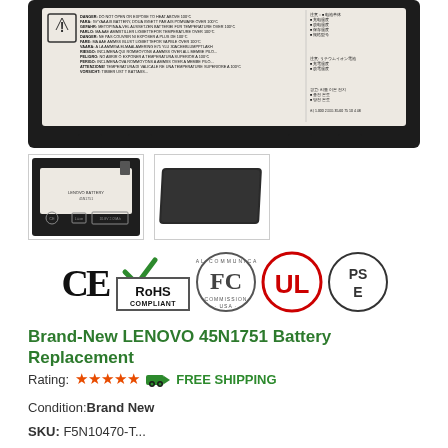[Figure (photo): Top view of a Lenovo 45N1751 laptop battery with white warning label showing multilingual safety warnings and certification marks]
[Figure (photo): Thumbnail 1: Close-up of battery internals/label side]
[Figure (photo): Thumbnail 2: Black flat battery cover/door]
[Figure (logo): Certification logos: CE, RoHS Compliant, FCC, UL, PSE]
Brand-New LENOVO 45N1751 Battery Replacement
Rating: ★★★★★  🚚 FREE SHIPPING
Condition:Brand New
SKU: F5N10470-T...